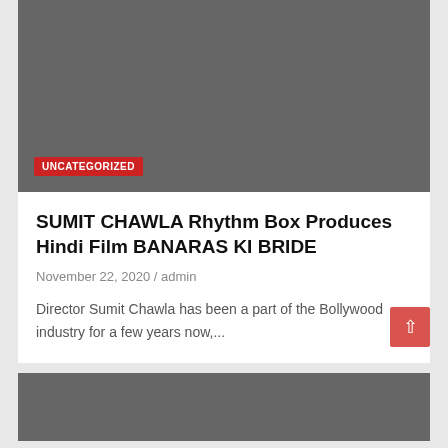[Figure (photo): Dark gray placeholder image area at the top of an article card]
UNCATEGORIZED
SUMIT CHAWLA Rhythm Box Produces Hindi Film BANARAS KI BRIDE
November 22, 2020 / admin
Director Sumit Chawla has been a part of the Bollywood industry for a few years now,...
[Figure (photo): Dark gray placeholder image area at the bottom of the page (partially visible)]